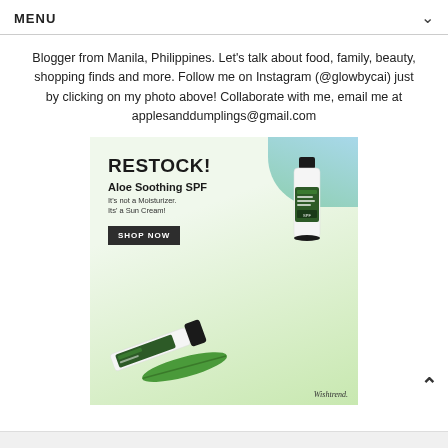MENU
Blogger from Manila, Philippines. Let's talk about food, family, beauty, shopping finds and more. Follow me on Instagram (@glowbycai) just by clicking on my photo above! Collaborate with me, email me at applesanddumplings@gmail.com
[Figure (photo): Advertisement for Wishtrend Aloe Soothing SPF Sun Cream. Shows product tubes on a green surface with aloe vera leaf. Text reads RESTOCK!, Aloe Soothing SPF, It's not a Moisturizer. Its' a Sun Cream!, SHOP NOW button, Wishtrend logo.]